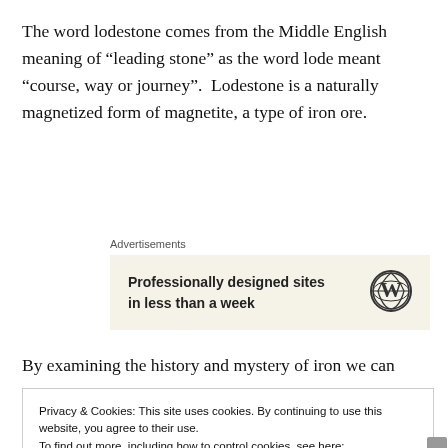The word lodestone comes from the Middle English meaning of “leading stone” as the word lode meant “course, way or journey”.  Lodestone is a naturally magnetized form of magnetite, a type of iron ore.
Advertisements
[Figure (other): Advertisement banner with text 'Professionally designed sites in less than a week' and a WordPress logo]
By examining the history and mystery of iron we can
Privacy & Cookies: This site uses cookies. By continuing to use this website, you agree to their use.
To find out more, including how to control cookies, see here:
Cookie Policy

Close and accept